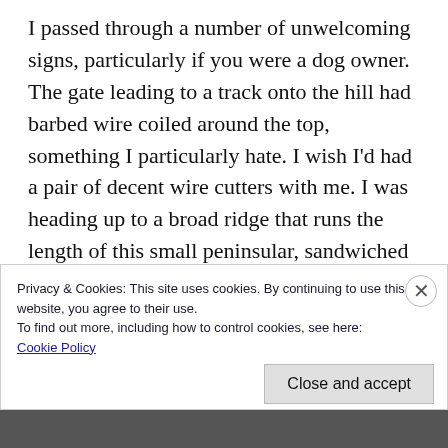I passed through a number of unwelcoming signs, particularly if you were a dog owner. The gate leading to a track onto the hill had barbed wire coiled around the top, something I particularly hate. I wish I'd had a pair of decent wire cutters with me. I was heading up to a broad ridge that runs the length of this small peninsular, sandwiched between Duirinish and Waternish, and onto the Marilyn Beinn Bhreac (329m). I left the good track after a kilometer and headed up across knee-length heather…
Privacy & Cookies: This site uses cookies. By continuing to use this website, you agree to their use.
To find out more, including how to control cookies, see here:
Cookie Policy
Close and accept